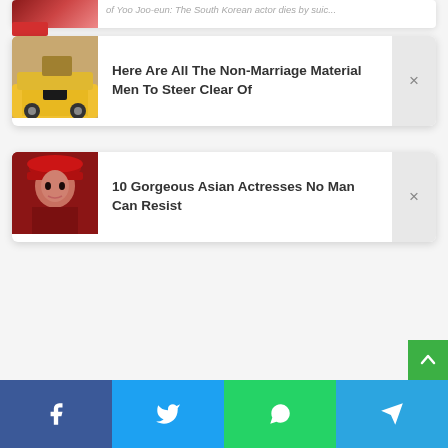[Figure (screenshot): Partially visible article card at the top of the page with a yellow car and person image]
Here Are All The Non-Marriage Material Men To Steer Clear Of
10 Gorgeous Asian Actresses No Man Can Resist
of Yoo Joo-eun: The South Korean actor dies by suic...
[Figure (screenshot): Social share bar with Facebook, Twitter, WhatsApp, Telegram icons]